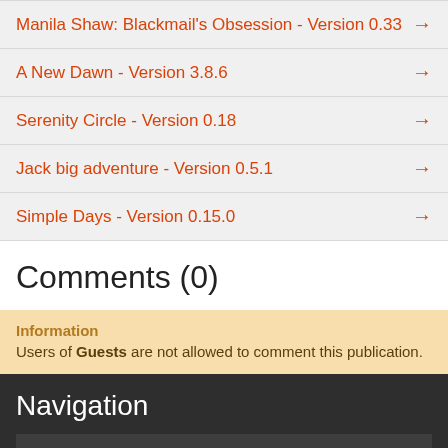Manila Shaw: Blackmail's Obsession - Version 0.33
A New Dawn - Version 3.8.6
Serenity Circle - Version 0.18
Jack big adventure - Version 0.5.1
Simple Days - Version 0.15.0
Comments (0)
Information
Users of Guests are not allowed to comment this publication.
Navigation
Menu 1
All the latest games